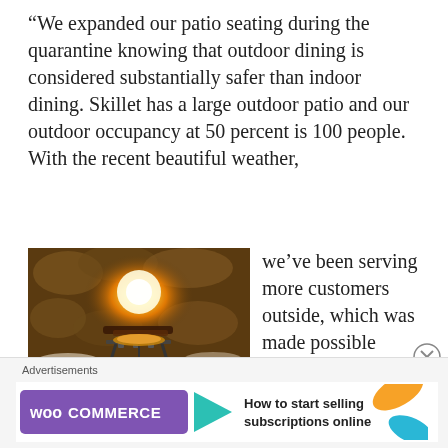“We expanded our patio seating during the quarantine knowing that outdoor dining is considered substantially safer than indoor dining. Skillet has a large outdoor patio and our outdoor occupancy at 50 percent is 100 people. With the recent beautiful weather,
[Figure (photo): Photo of the inside of a wood-fired stone oven with glowing fire and a pizza on a metal stand in the foreground.]
we’ve been serving more customers outside, which was made possible because of the expansion. Our order-at-the-
[Figure (other): Close button (X in circle) on the right side]
Advertisements
[Figure (logo): WooCommerce advertisement banner with purple logo, teal arrow, and text: How to start selling subscriptions online]